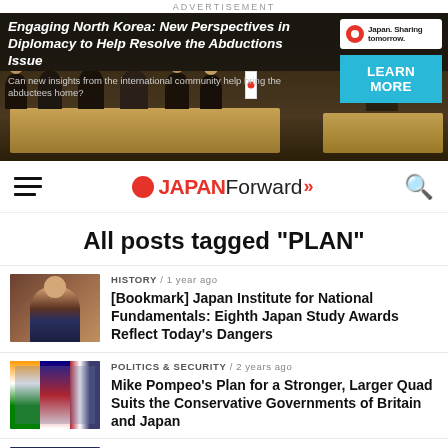ADVERTISEMENT
[Figure (photo): Advertisement banner for 'Engaging North Korea: New Perspectives in Diplomacy to Help Resolve the Abductions Issue' with Japan logo and LEARN MORE button and conference photo]
[Figure (logo): Japan Forward logo with red circle, JAPAN in red, Forward in black, double arrow in red]
All posts tagged "PLAN"
[Figure (photo): Photo of a man speaking at podium]
HISTORY / 1 year ago
[Bookmark] Japan Institute for National Fundamentals: Eighth Japan Study Awards Reflect Today's Dangers
[Figure (photo): Photo with flags including India, Australia, US flags]
POLITICS & SECURITY / 2 years ago
Mike Pompeo's Plan for a Stronger, Larger Quad Suits the Conservative Governments of Britain and Japan
[Figure (photo): Speaking Out graphic image]
POLITICS & SECURITY / 2 years ago
[Speaking Out] Plainly Stated: China Is a